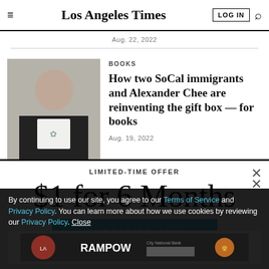Los Angeles Times — LOG IN [search]
Aug. 22, 2022
BOOKS
How two SoCal immigrants and Alexander Chee are reinventing the gift box — for books
Aug. 19, 2022
LIMITED-TIME OFFER
$1 for 6 Months
SUBSCRIBE NOW
By continuing to use our site, you agree to our Terms of Service and Privacy Policy. You can learn more about how we use cookies by reviewing our Privacy Policy. Close